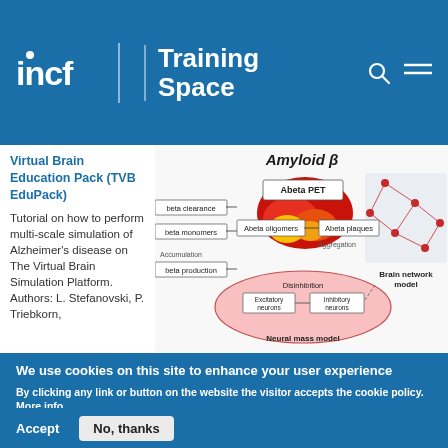incf | Training Space
Virtual Brain Education Pack (TVB EduPack)
Tutorial on how to perform multi-scale simulation of Alzheimer's disease on The Virtual Brain Simulation Platform. Authors: L. Stefanovski, P. Triebkorn,
[Figure (schematic): Amyloid β diagram showing Abeta PET brain image, Abeta monomers, Abeta oligomers, Abeta plaques, Neural mass model with Excitatory neurons and Inhibitory neurons, Brain network model, with arrows indicating Accumulation and Aggregation.]
We use cookies on this site to enhance your user experience
By clicking any link or button on the website the visitor accepts the cookie policy. More info
Accept    No, thanks